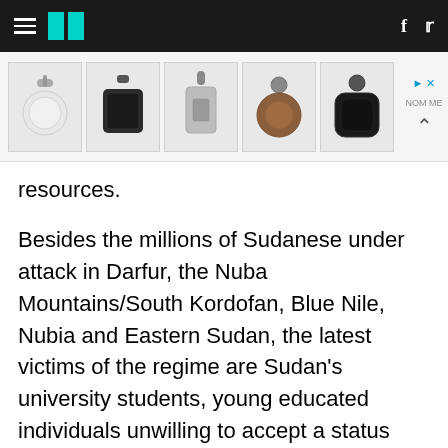HuffPost navigation header with hamburger menu, logo, Facebook and Twitter icons
[Figure (photo): Advertisement banner showing five keychain/accessory products (white round case, black square case, grey rectangle case, brown round case, black round case) with close and scroll controls]
resources.
Besides the millions of Sudanese under attack in Darfur, the Nuba Mountains/South Kordofan, Blue Nile, Nubia and Eastern Sudan, the latest victims of the regime are Sudan's university students, young educated individuals unwilling to accept a status quo intended to ensure a bleak future. Instead these students are seeking to be leaders through student elections, they are meeting together to discuss their concerns, and they are protesting peacefully. In other words,